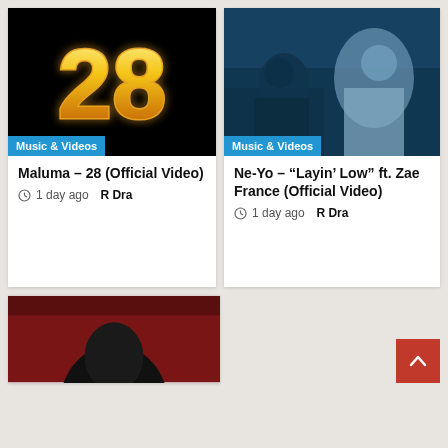[Figure (screenshot): Thumbnail for Maluma 28 music video showing fiery number 28 on black background with Music & Videos badge]
Maluma – 28 (Official Video)
1 day ago  R Dra
[Figure (screenshot): Thumbnail for Ne-Yo Layin Low music video showing people in blue-tinted scene with Music & Videos badge]
Ne-Yo – “Layin’ Low” ft. Zae France (Official Video)
1 day ago  R Dra
[Figure (photo): Partially visible red thumbnail with dark silhouette at bottom]
[Figure (other): Back to top red button with upward chevron arrow]